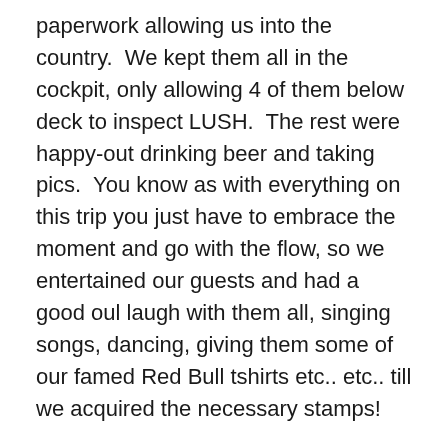paperwork allowing us into the country.  We kept them all in the cockpit, only allowing 4 of them below deck to inspect LUSH.  The rest were happy-out drinking beer and taking pics.  You know as with everything on this trip you just have to embrace the moment and go with the flow, so we entertained our guests and had a good oul laugh with them all, singing songs, dancing, giving them some of our famed Red Bull tshirts etc.. etc.. till we acquired the necessary stamps!
From Kupang, (East Timor), we sailed onto Labuanbajo on the island of Flores to reprovision and prep before Eddie and Marie rejoined LUSH.  This place was a noisy  hive of activity with people, scooters and cars and dust everywhere.  It was a far cry from the tranquility of the Pacific islands thats for sure.  I had great fun stocking up on my fruit and veg at the market where I had to